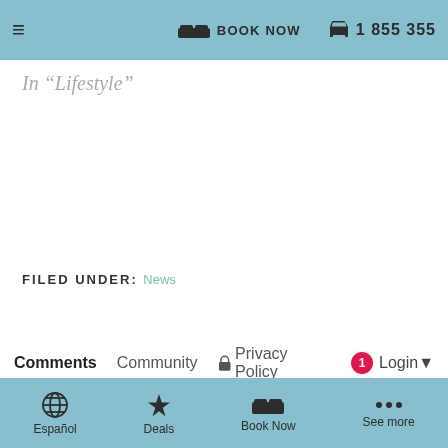≡  🛏 BOOK NOW  📞 1 855 355
In "Lifestyle"
FILED UNDER: News
Comments  Community  🔒 Privacy Policy  1 Login ▼
♡ Favorite  Sort by Best ▼
Español  Deals  Book Now  See more